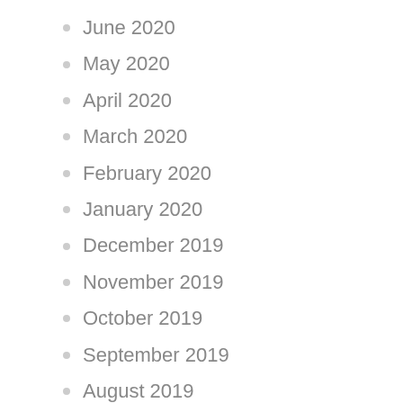June 2020
May 2020
April 2020
March 2020
February 2020
January 2020
December 2019
November 2019
October 2019
September 2019
August 2019
May 2019